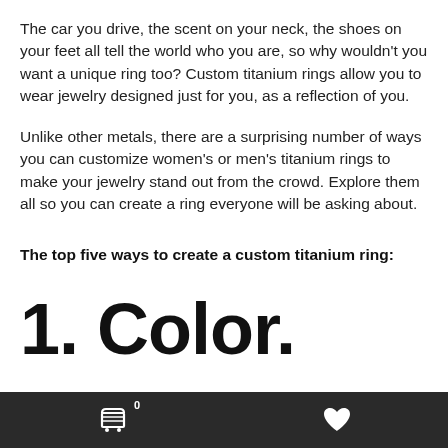The car you drive, the scent on your neck, the shoes on your feet all tell the world who you are, so why wouldn't you want a unique ring too? Custom titanium rings allow you to wear jewelry designed just for you, as a reflection of you.
Unlike other metals, there are a surprising number of ways you can customize women's or men's titanium rings to make your jewelry stand out from the crowd. Explore them all so you can create a ring everyone will be asking about.
The top five ways to create a custom titanium ring:
1. Color.
🛒 0   ♥